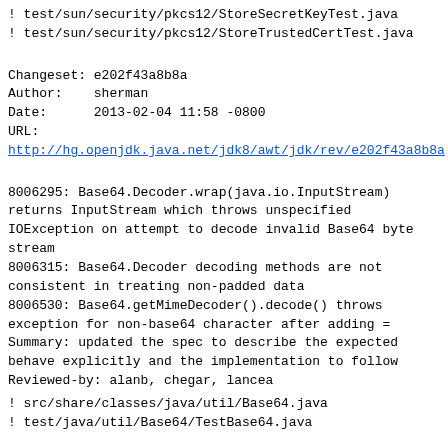! test/sun/security/pkcs12/StoreSecretKeyTest.java
! test/sun/security/pkcs12/StoreTrustedCertTest.java
Changeset: e202f43a8b8a
Author:    sherman
Date:      2013-02-04 11:58 -0800
URL:
http://hg.openjdk.java.net/jdk8/awt/jdk/rev/e202f43a8b8a
8006295: Base64.Decoder.wrap(java.io.InputStream) returns InputStream which throws unspecified IOException on attempt to decode invalid Base64 byte stream
8006315: Base64.Decoder decoding methods are not consistent in treating non-padded data
8006530: Base64.getMimeDecoder().decode() throws exception for non-base64 character after adding =
Summary: updated the spec to describe the expected behave explicitly and the implementation to follow
Reviewed-by: alanb, chegar, lancea
! src/share/classes/java/util/Base64.java
! test/java/util/Base64/TestBase64.java
Changeset: e04467fa13af
Author:    darcy
Date:      2013-02-04 17:56 -0800
URL:
http://hg.openjdk.java.net/jdk8/awt/jdk/rev/e04467fa13af